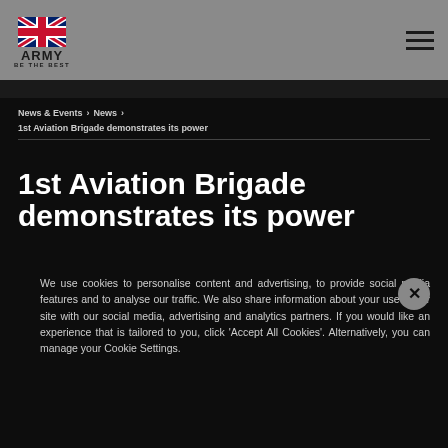ARMY BE THE BEST
News & Events > News > 1st Aviation Brigade demonstrates its power
1st Aviation Brigade demonstrates its power
We use cookies to personalise content and advertising, to provide social media features and to analyse our traffic. We also share information about your use of our site with our social media, advertising and analytics partners. If you would like an experience that is tailored to you, click 'Accept All Cookies'. Alternatively, you can manage your Cookie Settings.